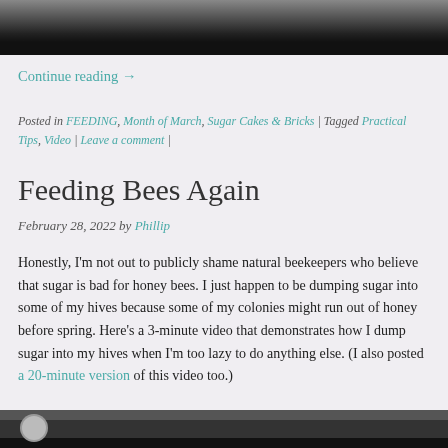[Figure (photo): Top portion of a photo, dark image with light object visible at top, black bar at bottom of image]
Continue reading →
Posted in FEEDING, Month of March, Sugar Cakes & Bricks | Tagged Practical Tips, Video | Leave a comment |
Feeding Bees Again
February 28, 2022 by Phillip
Honestly, I'm not out to publicly shame natural beekeepers who believe that sugar is bad for honey bees. I just happen to be dumping sugar into some of my hives because some of my colonies might run out of honey before spring. Here's a 3-minute video that demonstrates how I dump sugar into my hives when I'm too lazy to do anything else. (I also posted a 20-minute version of this video too.)
[Figure (photo): Bottom portion of a video thumbnail showing a circular logo/avatar on dark background]